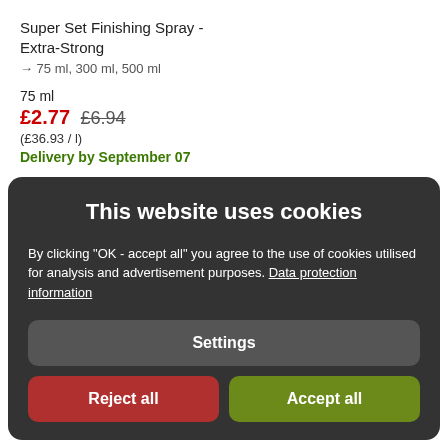Super Set Finishing Spray - Extra-Strong
→ 75 ml, 300 ml, 500 ml
75 ml
£2.77  £6.94
(£36.93 / l)
Delivery by September 07
This website uses cookies
By clicking "OK - accept all" you agree to the use of cookies utilised for analysis and advertisement purposes. Data protection information
Settings
Reject all
Accept all